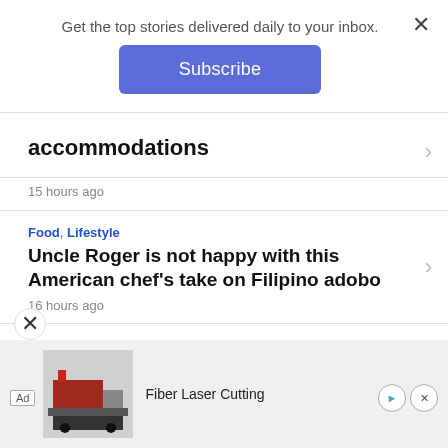Get the top stories delivered daily to your inbox.
Subscribe
accommodations
15 hours ago
Food, Lifestyle
Uncle Roger is not happy with this American chef's take on Filipino adobo
16 hours ago
National, News
Drivers' darling Bosita reacts to NCAP stoppage
Ad  Fiber Laser Cutting